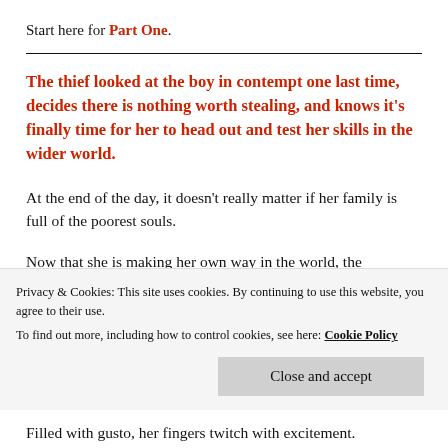Start here for Part One.
The thief looked at the boy in contempt one last time, decides there is nothing worth stealing, and knows it's finally time for her to head out and test her skills in the wider world.
At the end of the day, it doesn't really matter if her family is full of the poorest souls.
Now that she is making her own way in the world, the
Privacy & Cookies: This site uses cookies. By continuing to use this website, you agree to their use.
To find out more, including how to control cookies, see here: Cookie Policy
Close and accept
Filled with gusto, her fingers twitch with excitement.